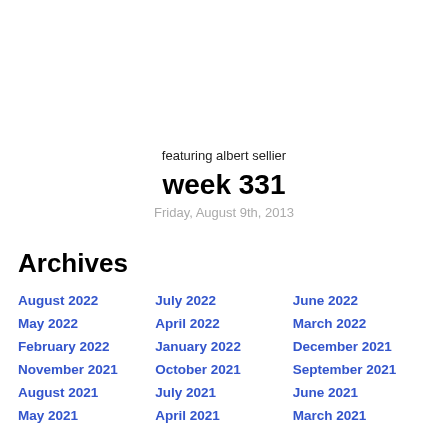featuring albert sellier
week 331
Friday, August 9th, 2013
Archives
August 2022
July 2022
June 2022
May 2022
April 2022
March 2022
February 2022
January 2022
December 2021
November 2021
October 2021
September 2021
August 2021
July 2021
June 2021
May 2021
April 2021
March 2021